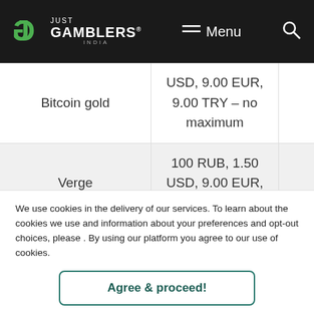JG JUST GAMBLERS INDIA | Menu | Search
| Payment Method | Min/Max |  |
| --- | --- | --- |
| Bitcoin gold | USD, 9.00 EUR, 9.00 TRY – no maximum |  |
| Verge | 100 RUB, 1.50 USD, 9.00 EUR, 9.00 TRY – no |  |
We use cookies in the delivery of our services. To learn about the cookies we use and information about your preferences and opt-out choices, please . By using our platform you agree to our use of cookies.
Agree & proceed!